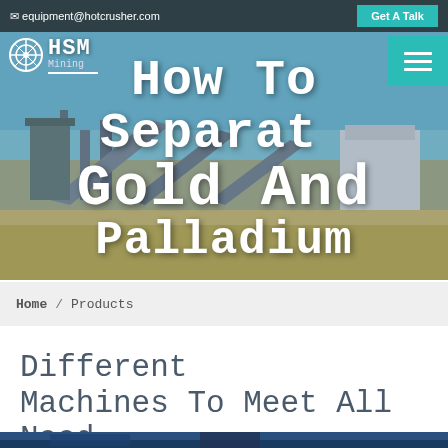equipment@hotcrusher.com  |  Get A Talk
[Figure (photo): Industrial mining/crushing plant with conveyor belts and machinery in a desert setting, used as hero background image]
How To Separate Gold And Palladium
Home / Products
Different Machines To Meet All Need
[Figure (photo): Bottom strip of a mining machinery photo]